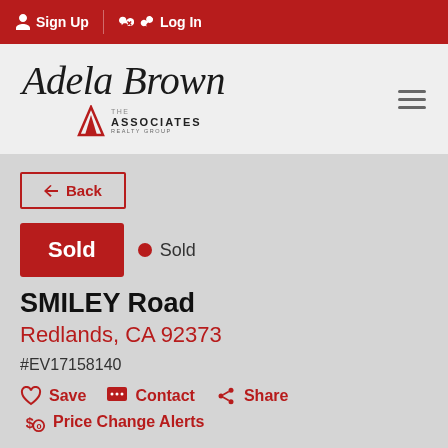Sign Up  Log In
[Figure (logo): Adela Brown - The Associates Realty Group logo with cursive script and triangle emblem]
← Back
Sold  • Sold
SMILEY Road
Redlands, CA 92373
#EV17158140
Save  Contact  Share
Price Change Alerts